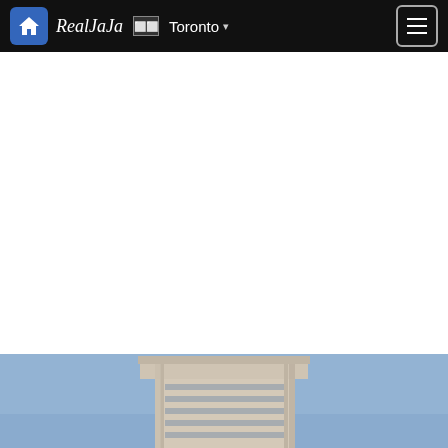RealJaJa ⬜⬜ Toronto
[Figure (photo): Partial view of a modern building exterior with architectural details, photographed from a low angle against a blue sky. Only the top portion is visible at the bottom of the page.]